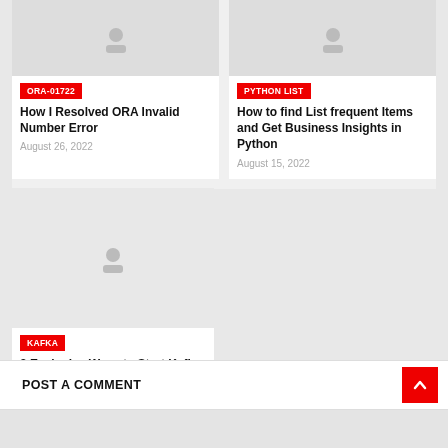[Figure (other): Article card image placeholder for ORA-01722]
ORA-01722
How I Resolved ORA Invalid Number Error
August 26, 2022
[Figure (other): Article card image placeholder for PYTHON LIST]
PYTHON LIST
How to find List frequent Items and Get Business Insights in Python
August 15, 2022
[Figure (other): Article card image placeholder for KAFKA]
KAFKA
2 Exclusive Ways to Start Kafka Services
August 03, 2022
POST A COMMENT